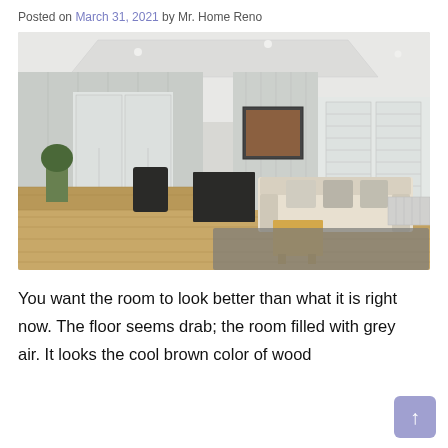Posted on March 31, 2021 by Mr. Home Reno
[Figure (photo): Bright open-plan living room with light wood laminate flooring, white shiplap walls, large windows with white shutters, a light sofa, dark TV unit, and a view through French doors into an adjoining room.]
You want the room to look better than what it is right now. The floor seems drab; the room filled with grey air. It looks the cool brown color of wood...